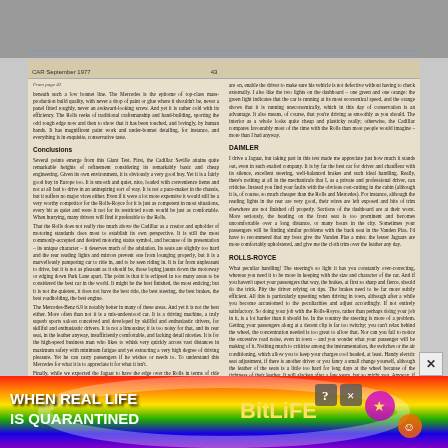CAR September 1977   43
From page 42 — beneath such a low bonnet line. The Mercedes is the epitome of top-class mass-production build quality, with never a drop of paint or glue where it shouldn't be, never a panel fitted roughly, never an awkward-looking screw. And yet it is rather cold with its efficiency. The Rolls reeks of traditional craftsmanship and hand-building, sporting the odd rough edge now and then to show that it has been touched, and lovingly, by human hands. It has magnificent paint work and under-bonnet detailing, for instance, and everything is in exquisite, conservative taste.
Conclusions
Several points emerge from this Giant Test. First, the Cadillac Seville attains quite remarkable heights of refinement considering its remarkably basic and cheap engineering. Given its own environment, it is obviously a very good buy. Yet it is a fairly good buy in Europe too. It is smooth and quiet, nice, loaded with convenience items and not at all bad to drive in an uninspiring sort of way. It is not a pace-maker in the chassis, but it suffers no major vices either. Even if it were a lot more expensive it would still be a very worthy competitor for the Rolls-Royce for it is just as competent in most situations, every bit as quiet and were it not for its restricted room would be just as comfortable. When hurrying, many drivers will find it preferable to the Rolls.

That the Rolls does not really rise much above the Cadillac as a creator and upholder of motoring standards does most to establish its own perspective. It is still the most commonly-accepted and desired motoring status symbol, and because of its presentation – its unique character – it deserves much of the adulation. Its seats are slightly too hard and the rear reading lights and mirrors prevent one from lounging properly, but it is a marvellously pampering car to ride in, and to be seen riding in. It is far from unpleasant to drive, but it is not as pleasant as it should be, those loping jaunts down the motorway or edging down Park Lane apart. The point is that it is eclipsed in too many areas to be considered the best car in the world. It might be the best finished, the most enticing; but it is not the quietest, it does not have the best ride, the best steering, the best brakes, the best roadholding, the best engine.

The Mercedes-Benz 6.9 is notably better in many of these areas. And yet it is not the best either. More often than not it is a mis-understood car. It is a driving machine, a truly superb sports saloon conceived and developed by skillful and enthusiastic drivers, for skillful and enthusiastic drivers. It is not a limousine; it is too noisy for that, and its rear seat, in the leather anyway, insufficiently comfortable, and lacking detail niceties. It is for the high-speed business man who likes to whisk very quickly across vast distances in maximum safety with minimum fatigue and yet extracting a very high degree of driving pleasure. Yet he can carry passengers if he wishes or needs to. To understand this Mercedes for what it is to appreciate it for what it isn't.

Finally, while we expected the Jaguar to have the edge over the Rolls in terms of ride quality, overall silence and drive-line smoothness, we did not anticipate that it would not only match the Mercedes as a driver's car, but actually better it, although without such a feeling of excitement. It carries its capabilities more subtly, blending them with more overall refinement than any other car currently made. They are tremendous capabilities, made even more awesome by the car's price: even in its ultimate form it is £10,000 cheaper than the Rolls and the 450SEL 6.9. Yet, if it were up to us, we would opt not for the top-line Double-Six Vanden Plas but for the standard £10,988 XJ12 with cloth trim, for its seating is more comfortable in that form. It makes...
DAIMLER
I drive a Jaguar, but taking part in this test made me appreciate just how much it stands out, even in such exalted company. It is by far the best car for driver and chauffeur with its silence, excellent steering, well-balanced brakes and such ideal handling. Really, there's nothing at all in the mechanicals that I, as a private and professional driver, can criticise. Instead you find your faults with the obvious cost-cutting in the cabin (although it is, of course, so much cheaper than the Rolls and Mercedes). For instance, although the reading lights in the rear are very good, their wires are left exposed and bits of trim elsewhere are not finished off properly. Sections of the dashboard are at their worst. More seriously, the beading on the front seat is too prominent and becomes uncomfortable over a long distance, or many hours in the city. Sometimes your passengers will be finding similar problems with the back seat in the Vanden Plas. I'd have to recommend that my boss give the Vanden Plas a miss: the lesser Jaguars are more comfortably upholstered, and give me the cloth trim over the leather any day.
ROLLS-ROYCE
What peculiar handling! The steering's so light it has you constantly over-correcting, whereas you need it to be more in keeping with the size and character of the car. And if you haven't upset your passengers that way, the brakes, at first so sharp and fierce, should do the trick. Pity the driver relying on tips. The brakes need to be far more subtly efficient. All this is particularly upsetting when driving in town, although after a while you become accustomed to the peculiarities and adjust accordingly. If not entirely satisfactory. So doing your job with the Rolls-Royce, rather than perhaps doing your job in it, is a lot harder than it should be. In the country the steering is more of a problem. Getting your passengers along at a decent clip is far too twitchy; you can't relax behind the wheel, the concentration needed is too great to allow that. Nor can you fail to notice the excessive road noise, even in town – and you wonder what your passenger will be making of it. Nothing much to criticise among the instrumentation, the switches or the air conditioning, which allow you to keep your charges cool headed, at least. Handy electric seat adjustment, if there is another driver or you fancy a small change yourself, although the leather of the seats is a little too hard for long days at the wheel because of the tightness of their leather. It will slacken after a few years, but so might you. Anyway, if somebody is paying so much money they want the seats to be comfortable from the outset. With the Rolls, both owner and driver expect the very best. In practice, though, they don't get it.
and from the back
[Figure (photo): Advertisement: BitLife game ad with rainbow background and cartoon characters]